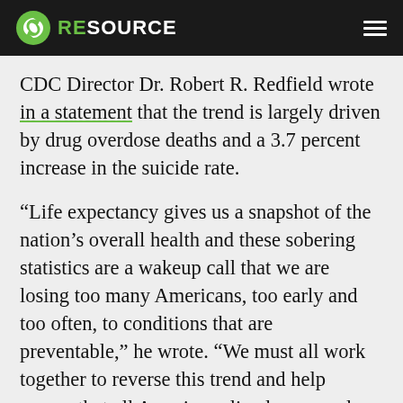RESOURCE
CDC Director Dr. Robert R. Redfield wrote in a statement that the trend is largely driven by drug overdose deaths and a 3.7 percent increase in the suicide rate.
“Life expectancy gives us a snapshot of the nation’s overall health and these sobering statistics are a wakeup call that we are losing too many Americans, too early and too often, to conditions that are preventable,” he wrote. “We must all work together to reverse this trend and help ensure that all Americans live longer and healthier lives.”